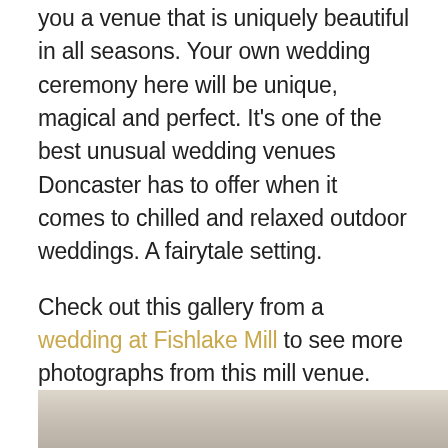you a venue that is uniquely beautiful in all seasons. Your own wedding ceremony here will be unique, magical and perfect. It's one of the best unusual wedding venues Doncaster has to offer when it comes to chilled and relaxed outdoor weddings. A fairytale setting.

Check out this gallery from a wedding at Fishlake Mill to see more photographs from this mill venue.
[Figure (photo): Bottom strip of a photograph showing an outdoor wedding venue, partially visible at the bottom of the page.]